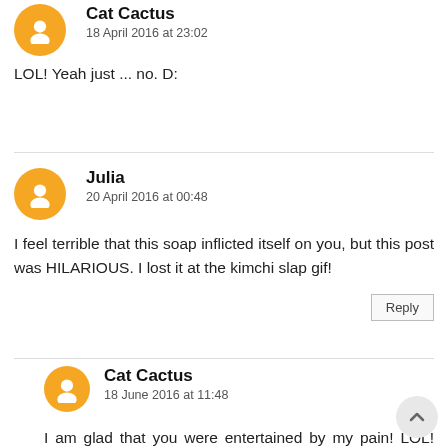Cat Cactus
18 April 2016 at 23:02
LOL! Yeah just ... no. D:
Julia
20 April 2016 at 00:48
I feel terrible that this soap inflicted itself on you, but this post was HILARIOUS. I lost it at the kimchi slap gif!
Reply
Cat Cactus
18 June 2016 at 11:48
I am glad that you were entertained by my pain! LOL! Seriously though, I absolutely love